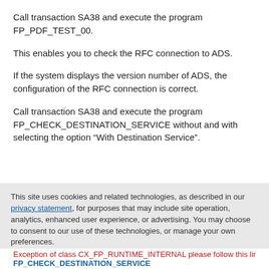Call transaction SA38 and execute the program FP_PDF_TEST_00.
This enables you to check the RFC connection to ADS.
If the system displays the version number of ADS, the configuration of the RFC connection is correct.
Call transaction SA38 and execute the program FP_CHECK_DESTINATION_SERVICE without and with selecting the option “With Destination Service”.
This site uses cookies and related technologies, as described in our privacy statement, for purposes that may include site operation, analytics, enhanced user experience, or advertising. You may choose to consent to our use of these technologies, or manage your own preferences.
Accept Cookies
More Information
Privacy Policy | Powered by: TrustArc
Exception of class CX_FP_RUNTIME_INTERNAL please follow this link:
FP_CHECK_DESTINATION_SERVICE